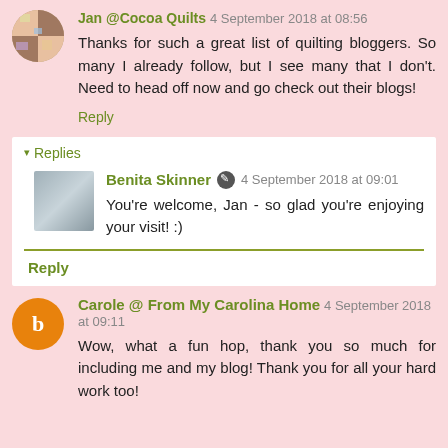Jan @Cocoa Quilts 4 September 2018 at 08:56
Thanks for such a great list of quilting bloggers. So many I already follow, but I see many that I don't. Need to head off now and go check out their blogs!
Reply
▾ Replies
Benita Skinner ✎ 4 September 2018 at 09:01
You're welcome, Jan - so glad you're enjoying your visit! :)
Reply
Carole @ From My Carolina Home 4 September 2018 at 09:11
Wow, what a fun hop, thank you so much for including me and my blog! Thank you for all your hard work too!